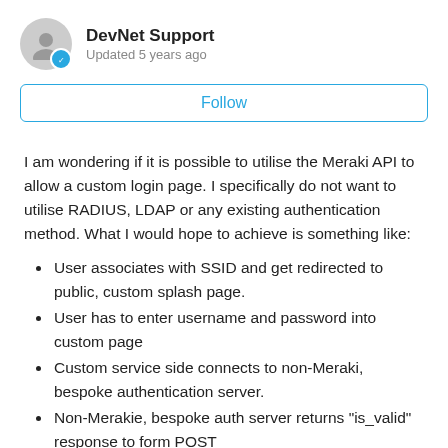DevNet Support
Updated 5 years ago
Follow
I am wondering if it is possible to utilise the Meraki API to allow a custom login page. I specifically do not want to utilise RADIUS, LDAP or any existing authentication method. What I would hope to achieve is something like:
User associates with SSID and get redirected to public, custom splash page.
User has to enter username and password into custom page
Custom service side connects to non-Meraki, bespoke authentication server.
Non-Merakie, bespoke auth server returns "is_valid" response to form POST
Server side now recognises this user as valid and,